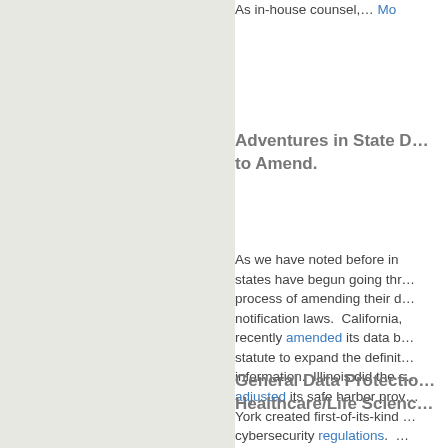As in-house counsel,… Mo…
Adventures in State D… to Amend.
As we have noted before in… states have begun going thr… process of amending their d… notification laws.  California, recently amended its data b… statute to expand the definit… information.  Illinois did the s… adjusted its safe harbor prov… York created first-of-its-kind … cybersecurity regulations.  …
General Data Protectio… Healthcare/Life Scienc…